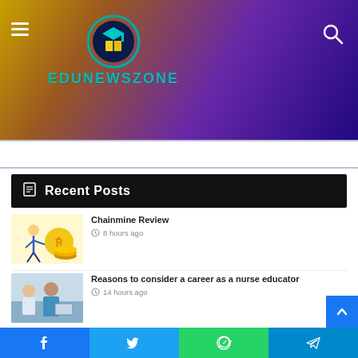EDUNEWSZONE
Recent Posts
Chainmine Review — 8 hours ago
Reasons to consider a career as a nurse educator — 14 hours ago
3 Reasons Why People Use Inflatable Kayaks For Their Water Adventures
Facebook | Twitter | WhatsApp | Telegram